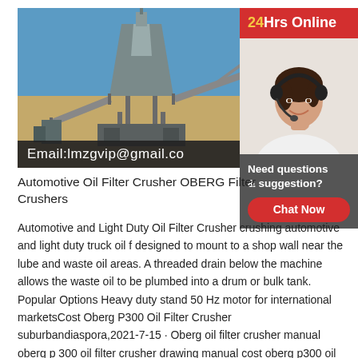[Figure (photo): Industrial conveyor/crusher machinery at a quarry or mining site under blue sky, with text overlay 'Email:lmzgvip@gmail.co']
[Figure (photo): Customer service woman wearing headset smiling, with '24Hrs Online' red banner on top and 'Need questions & suggestion?' dark grey panel with 'Chat Now' red button]
Automotive Oil Filter Crusher OBERG Filter Crushers
Automotive and Light Duty Oil Filter Crusher crushing automotive and light duty truck oil f designed to mount to a shop wall near the lube and waste oil areas. A threaded drain below the machine allows the waste oil to be plumbed into a drum or bulk tank. Popular Options Heavy duty stand 50 Hz motor for international marketsCost Oberg P300 Oil Filter Crusher suburbandiaspora,2021-7-15 · Oberg oil filter crusher manual oberg p 300 oil filter crusher drawing manual cost oberg p300 oil filter crusher